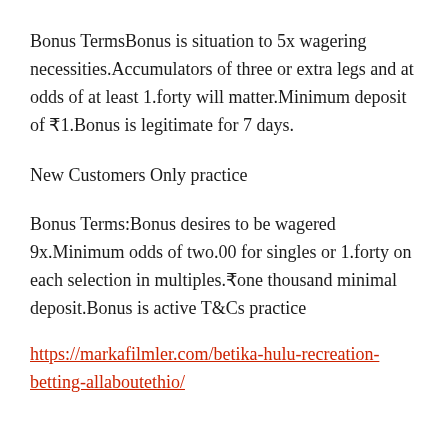Bonus TermsBonus is situation to 5x wagering necessities.Accumulators of three or extra legs and at odds of at least 1.forty will matter.Minimum deposit of ₹1.Bonus is legitimate for 7 days.
New Customers Only practice
Bonus Terms:Bonus desires to be wagered 9x.Minimum odds of two.00 for singles or 1.forty on each selection in multiples.₹one thousand minimal deposit.Bonus is active T&Cs practice
https://markafilmler.com/betika-hulu-recreation-betting-allaboutethio/